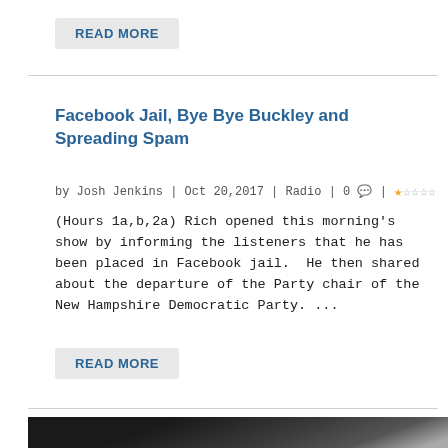READ MORE
Facebook Jail, Bye Bye Buckley and Spreading Spam
by Josh Jenkins | Oct 20, 2017 | Radio | 0 💬 | ★☆☆☆☆
(Hours 1a,b,2a) Rich opened this morning's show by informing the listeners that he has been placed in Facebook jail.  He then shared about the departure of the Party chair of the New Hampshire Democratic Party. ...
READ MORE
[Figure (photo): Dark photo partially visible at bottom of page]